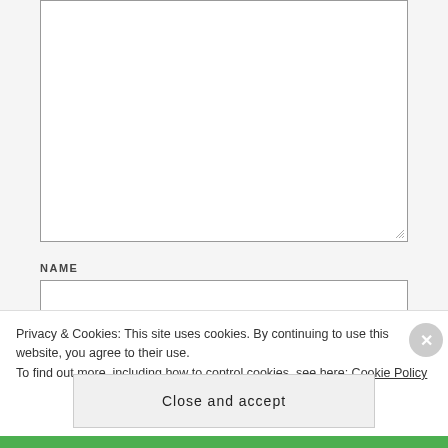[Figure (screenshot): Partially visible textarea form field with resize handle at bottom right]
NAME
[Figure (screenshot): Name input text field, empty]
EMAIL
[Figure (screenshot): Email input text field, partially visible]
Privacy & Cookies: This site uses cookies. By continuing to use this website, you agree to their use.
To find out more, including how to control cookies, see here: Cookie Policy
Close and accept